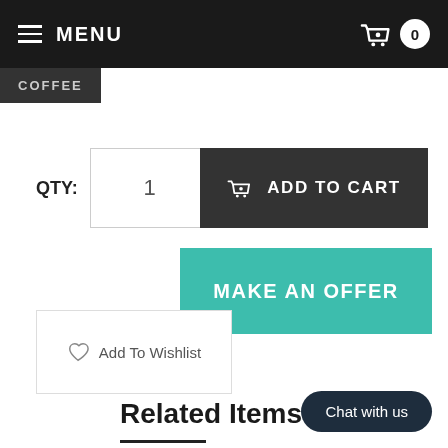MENU
COFFEE
QTY: 1
ADD TO CART
MAKE AN OFFER
Add To Wishlist
Related Items
Chat with us